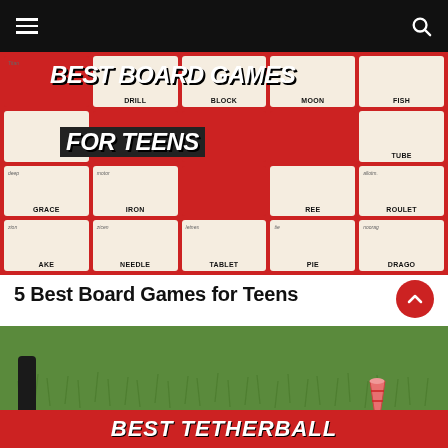Navigation bar with hamburger menu and search icon
[Figure (photo): Board game cards on a red background with text overlay reading BEST BOARD GAMES FOR TEENS. Cards show words like DRILL, BLOCK, MOON, FISH, TUBE, GRACE, IRON, REE, ROULET, AKE, NEEDLE, TABLET, PIE, DRAGO]
5 Best Board Games for Teens
[Figure (photo): Photo of green grass with a pink cup and black object visible, and a red banner at the bottom reading BEST TETHERBALL]